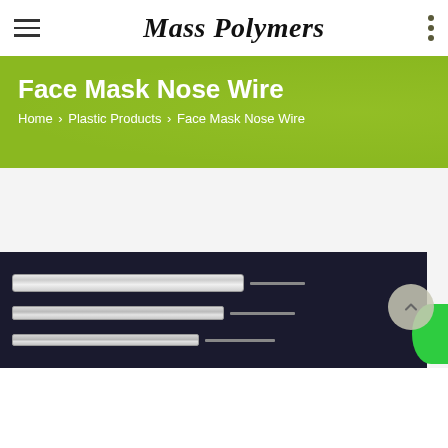Mass Polymers
Face Mask Nose Wire
Home › Plastic Products › Face Mask Nose Wire
[Figure (photo): Product photo of face mask nose wires — elongated flat plastic/metal strips on a dark background, shown in multiple sizes.]